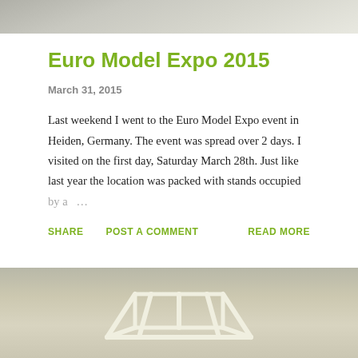[Figure (photo): Top cropped photo showing light-colored surface, partially visible model or craft object]
Euro Model Expo 2015
March 31, 2015
Last weekend I went to the Euro Model Expo event in Heiden, Germany. The event was spread over 2 days. I visited on the first day, Saturday March 28th. Just like last year the location was packed with stands occupied by a …
SHARE  POST A COMMENT  READ MORE
[Figure (photo): Bottom photo showing a white plastic or resin model car chassis/roll cage frame against a grey background]